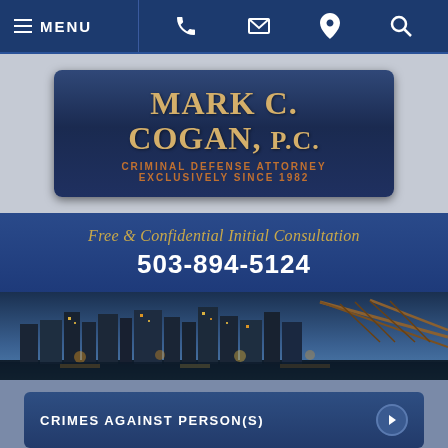MENU | Phone | Email | Location | Search
[Figure (logo): Mark C. Cogan, P.C. - Criminal Defense Attorney Exclusively Since 1982]
Free & Confidential Initial Consultation
503-894-5124
[Figure (photo): Portland, Oregon city skyline at dusk with bridge]
CRIMES AGAINST PERSON(S)
NON-PERSON CRIMES
OTHER SERVICES